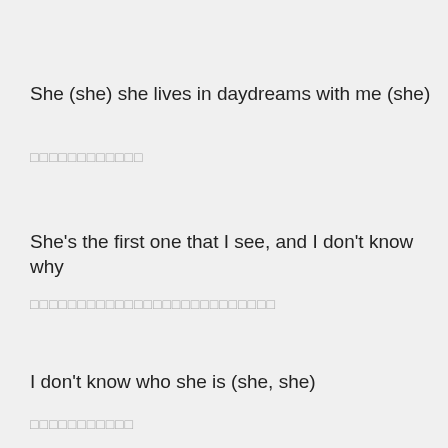She (she) she lives in daydreams with me (she)
□□□□□□□□□□□□
She's the first one that I see, and I don't know why
□□□□□□□□□□□□□□□□□□□□□□□□□□
I don't know who she is (she, she)
□□□□□□□□□□□